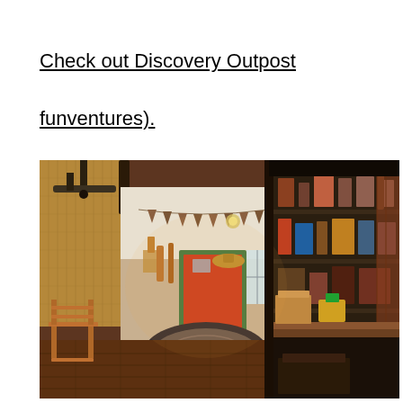Check out Discovery Outpost funventures).
[Figure (photo): Interior of a rustic shop or outpost with warm HDR lighting. Left side shows burlap curtains, a wooden chair, and a hallway leading to a red door with green trim and triangular bunting banners hanging from the ceiling. Right side shows dark wooden shelving units filled with merchandise, colorful items, and a wooden counter with goods on display.]